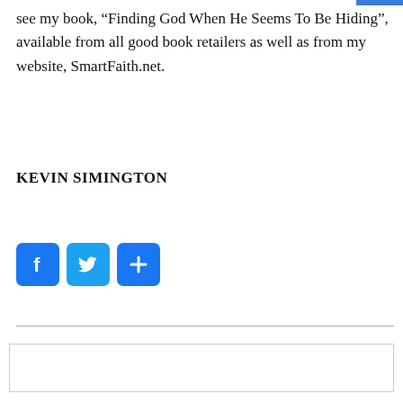see my book, “Finding God When He Seems To Be Hiding”, available from all good book retailers as well as from my website, SmartFaith.net.
KEVIN SIMINGTON
[Figure (other): Social sharing icons: Facebook (blue square with f), Twitter (blue square with bird), and a share button (blue square with plus sign)]
Previous Post   Next Po[st]